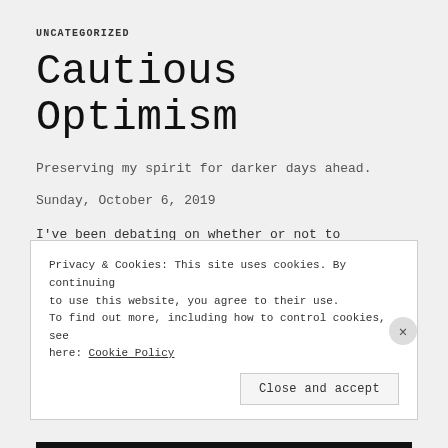UNCATEGORIZED
Cautious Optimism
Preserving my spirit for darker days ahead.
Sunday, October 6, 2019
I've been debating on whether or not to write tonight; I figured since I am ahead of my work, I might as well. I've noticed a
Privacy & Cookies: This site uses cookies. By continuing to use this website, you agree to their use.
To find out more, including how to control cookies, see here: Cookie Policy
Close and accept